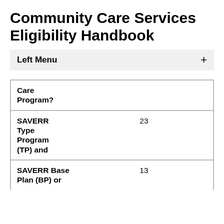Community Care Services Eligibility Handbook
Left Menu +
| Care Program? |  |
| SAVERR Type Program (TP) and | 23 |
| SAVERR Base Plan (BP) or | 13 |